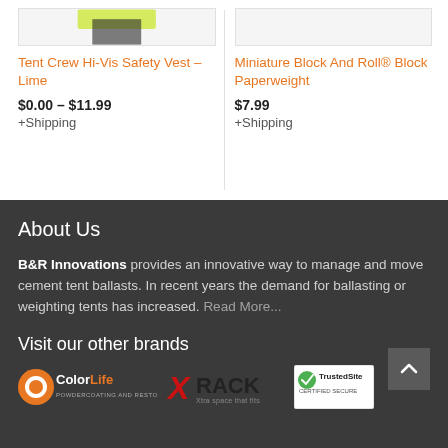[Figure (photo): Product image of Tent Crew Hi-Vis Safety Vest - Lime (cropped top)]
Tent Crew Hi-Vis Safety Vest – Lime
$0.00 – $11.99 +Shipping
[Figure (photo): Product image of Miniature Block And Roll Block Paperweight (cropped top)]
Miniature Block And Roll® Block Paperweight
$7.99 +Shipping
About Us
B&R Innovations provides an innovative way to manage and move cement tent ballasts. In recent years the demand for ballasting or weighting tents has increased. Read More...
Visit our other brands
[Figure (logo): ColorLife Powdercoating and Restoration logo]
[Figure (logo): X RACK - Xtra space that fits logo]
[Figure (logo): TrustedSite Certified Secure badge]